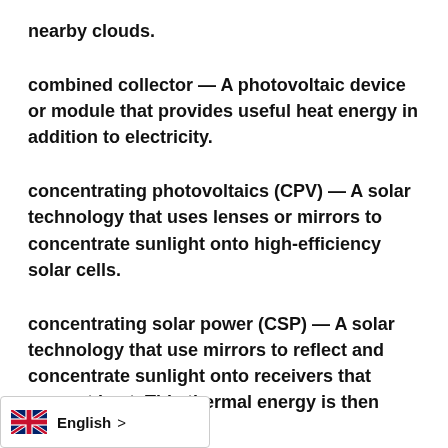nearby clouds.
combined collector — A photovoltaic device or module that provides useful heat energy in addition to electricity.
concentrating photovoltaics (CPV) — A solar technology that uses lenses or mirrors to concentrate sunlight onto high-efficiency solar cells.
concentrating solar power (CSP) — A solar technology that use mirrors to reflect and concentrate sunlight onto receivers that convert heat. This thermal energy is then